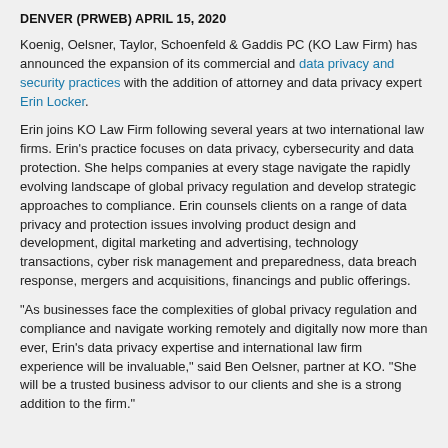DENVER (PRWEB) APRIL 15, 2020
Koenig, Oelsner, Taylor, Schoenfeld & Gaddis PC (KO Law Firm) has announced the expansion of its commercial and data privacy and security practices with the addition of attorney and data privacy expert Erin Locker.
Erin joins KO Law Firm following several years at two international law firms. Erin's practice focuses on data privacy, cybersecurity and data protection. She helps companies at every stage navigate the rapidly evolving landscape of global privacy regulation and develop strategic approaches to compliance. Erin counsels clients on a range of data privacy and protection issues involving product design and development, digital marketing and advertising, technology transactions, cyber risk management and preparedness, data breach response, mergers and acquisitions, financings and public offerings.
"As businesses face the complexities of global privacy regulation and compliance and navigate working remotely and digitally now more than ever, Erin's data privacy expertise and international law firm experience will be invaluable," said Ben Oelsner, partner at KO. "She will be a trusted business advisor to our clients and she is a strong addition to the firm."